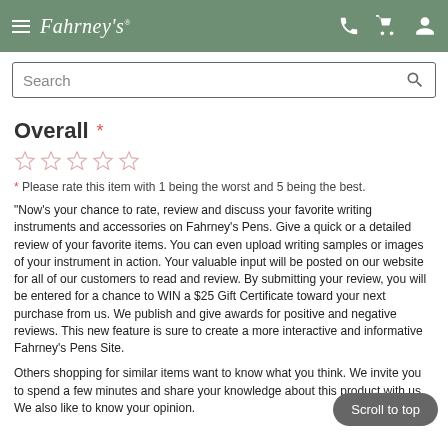Fahrney's Pens navigation header with logo, hamburger menu, phone, cart, and account icons
Search
Overall *
* Please rate this item with 1 being the worst and 5 being the best.
"Now's your chance to rate, review and discuss your favorite writing instruments and accessories on Fahrney's Pens. Give a quick or a detailed review of your favorite items. You can even upload writing samples or images of your instrument in action. Your valuable input will be posted on our website for all of our customers to read and review. By submitting your review, you will be entered for a chance to WIN a $25 Gift Certificate toward your next purchase from us. We publish and give awards for positive and negative reviews. This new feature is sure to create a more interactive and informative Fahrney's Pens Site.
Others shopping for similar items want to know what you think. We invite you to spend a few minutes and share your knowledge about this product with us. We also like to know your opinion.